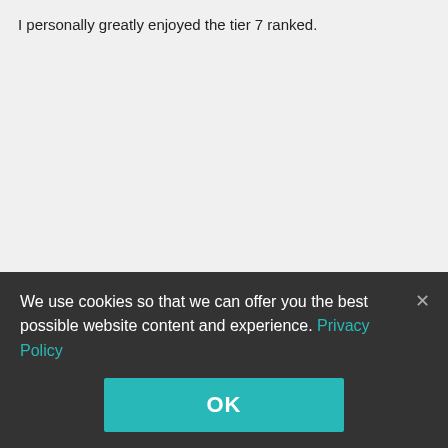I personally greatly enjoyed the tier 7 ranked.
[F4E]
MN_Nice
+106
Members
388 posts
14,016 battles
We use cookies so that we can offer you the best possible website content and experience. Privacy Policy
OK